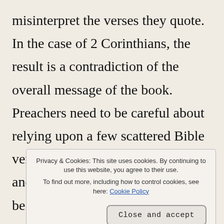misinterpret the verses they quote. In the case of 2 Corinthians, the result is a contradiction of the overall message of the book. Preachers need to be careful about relying upon a few scattered Bible verses pulled out of their historical and literary context. They need to be wary of utilizing th[e...] n th[e...] w[...] error that many who preach the message of
Privacy & Cookies: This site uses cookies. By continuing to use this website, you agree to their use. To find out more, including how to control cookies, see here: Cookie Policy
Close and accept